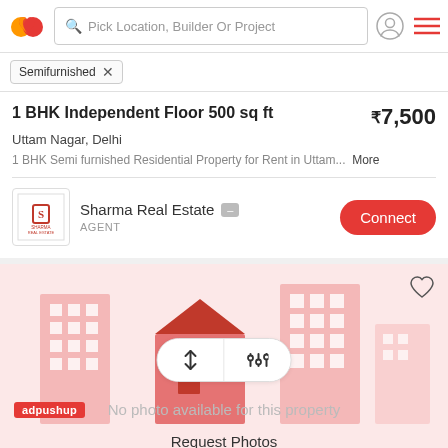Pick Location, Builder Or Project
Semifurnished ×
1 BHK Independent Floor 500 sq ft
₹7,500
Uttam Nagar, Delhi
1 BHK Semi furnished Residential Property for Rent in Uttam...  More
Sharma Real Estate  AGENT  Connect
[Figure (illustration): Real estate app screenshot showing property listing with no photo placeholder, sort/filter buttons, adpushup label, 'No photo available for this property' text, and 'Request Photos' link. Background shows a pink building illustration.]